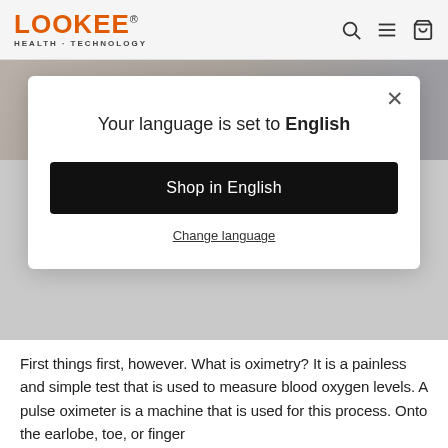LOOKEE HEALTH · TECHNOLOGY
[Figure (photo): Partial view of a person lying down, hero image behind the modal overlay]
Your language is set to English
Shop in English
Change language
First things first, however. What is oximetry? It is a painless and simple test that is used to measure blood oxygen levels. A pulse oximeter is a machine that is used for this process. Onto the earlobe, toe, or finger